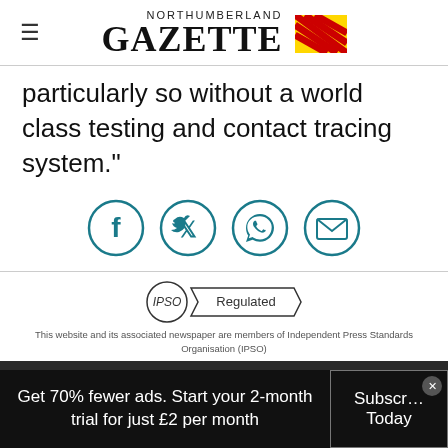NORTHUMBERLAND GAZETTE
particularly so without a world class testing and contact tracing system."
[Figure (infographic): Four circular social media share icons: Facebook, Twitter, WhatsApp, Email]
[Figure (logo): IPSO Regulated badge]
This website and its associated newspaper are members of Independent Press Standards Organisation (IPSO)
Follow us on
Get 70% fewer ads. Start your 2-month trial for just £2 per month
Subscribe Today